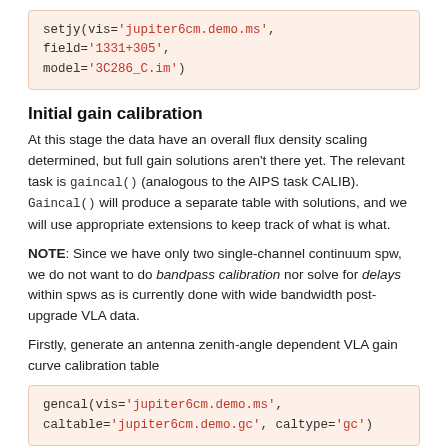[Figure (screenshot): Code block showing setjy() command with vis='jupiter6cm.demo.ms', field='1331+305', model='3C286_C.im']
Initial gain calibration
At this stage the data have an overall flux density scaling determined, but full gain solutions aren't there yet. The relevant task is gaincal() (analogous to the AIPS task CALIB). Gaincal() will produce a separate table with solutions, and we will use appropriate extensions to keep track of what is what.
NOTE: Since we have only two single-channel continuum spw, we do not want to do bandpass calibration nor solve for delays within spws as is currently done with wide bandwidth post-upgrade VLA data.
Firstly, generate an antenna zenith-angle dependent VLA gain curve calibration table
[Figure (screenshot): Code block showing gencal() command with vis='jupiter6cm.demo.ms', caltable='jupiter6cm.demo.gc', caltype='gc']
Now, solve for antenna gains on 1331+305 and 0137+331, using the